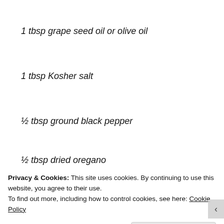1 tbsp grape seed oil or olive oil
1 tbsp Kosher salt
½ tbsp ground black pepper
½ tbsp dried oregano
½ tbsp dried basil
½ tsp onion powder
Privacy & Cookies: This site uses cookies. By continuing to use this website, you agree to their use. To find out more, including how to control cookies, see here: Cookie Policy
Close and accept